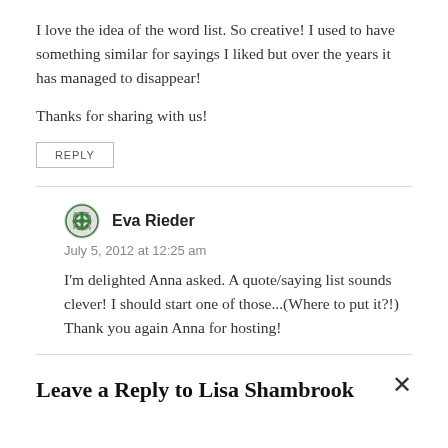I love the idea of the word list. So creative! I used to have something similar for sayings I liked but over the years it has managed to disappear!

Thanks for sharing with us!
REPLY
Eva Rieder
July 5, 2012 at 12:25 am
I'm delighted Anna asked. A quote/saying list sounds clever! I should start one of those…(Where to put it?!) Thank you again Anna for hosting!
Leave a Reply to Lisa Shambrook